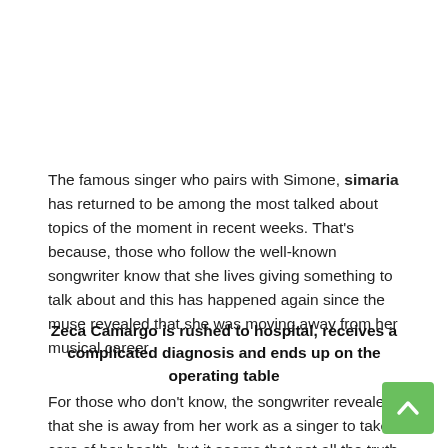The famous singer who pairs with Simone, simaria has returned to be among the most talked about topics of the moment in recent weeks. That's because, those who follow the well-known songwriter know that she lives giving something to talk about and this has happened again since the muse revealed that she was moving away from her musical career.
Zeca Camargo is rushed to hospital, receives a complicated diagnosis and ends up on the operating table
For those who don't know, the songwriter revealed that she is away from her work as a singer to take care of her health, but it seems that not all the truth has been revealed about the reason for her departure. After fights, discontent and revelations about Simone, she